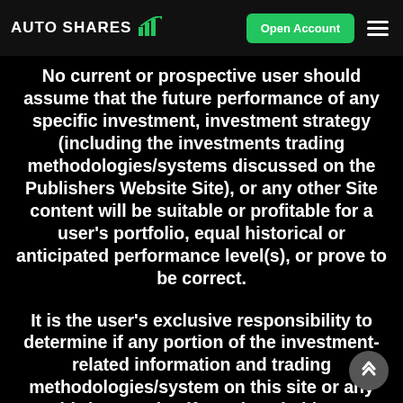AUTO SHARES | Open Account
No current or prospective user should assume that the future performance of any specific investment, investment strategy (including the investments trading methodologies/systems discussed on the Publishers Website Site), or any other Site content will be suitable or profitable for a user's portfolio, equal historical or anticipated performance level(s), or prove to be correct.
It is the user's exclusive responsibility to determine if any portion of the investment-related information and trading methodologies/system on this site or any third-party site, if any, is suitable or